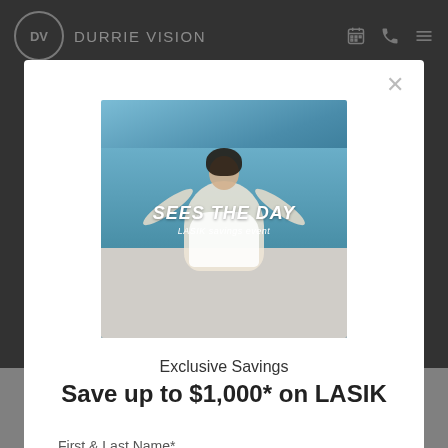DV  DURRIE VISION
[Figure (screenshot): Modal popup on Durrie Vision website showing a woman sitting on a bed with arms raised, text overlay reading SEES THE DAY LASIK savings event]
Exclusive Savings
Save up to $1,000* on LASIK
First & Last Name*